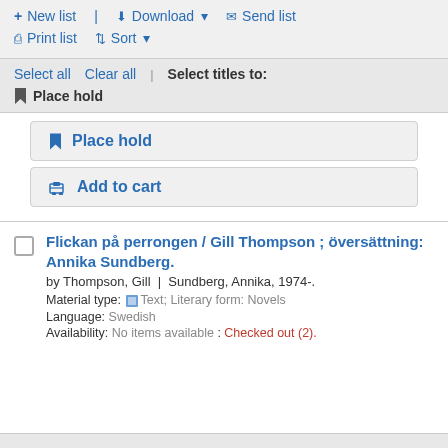+ New list | Download ▾ ✉ Send list | ⎙ Print list ⇅ Sort ▾
Select all  Clear all | Select titles to: 🔖 Place hold
🔖 Place hold
🛒 Add to cart
Flickan på perrongen / Gill Thompson ; översättning: Annika Sundberg.
by Thompson, Gill | Sundberg, Annika, 1974-.
Material type: Text; Literary form: Novels
Language: Swedish
Availability: No items available : Checked out (2).